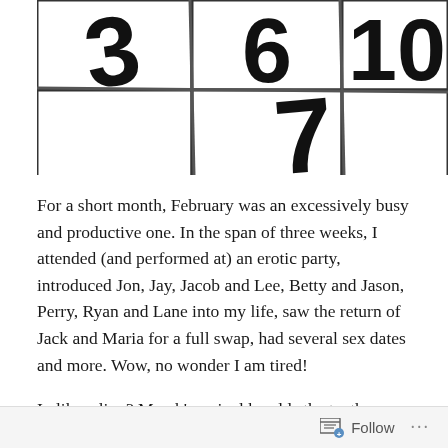[Figure (photo): Close-up photo of a white calendar showing large bold numbers including 6, 10, 3, 7, with black grid lines dividing the cells, viewed at an angle.]
For a short month, February was an excessively busy and productive one. In the span of three weeks, I attended (and performed at) an erotic party, introduced Jon, Jay, Jacob and Lee, Betty and Jason, Perry, Ryan and Lane into my life, saw the return of Jack and Maria for a full swap, had several sex dates and more. Wow, no wonder I am tired!
In like a lion? March's arrival heralds the tenth month of the Summer of Sexiness (which
Follow ...